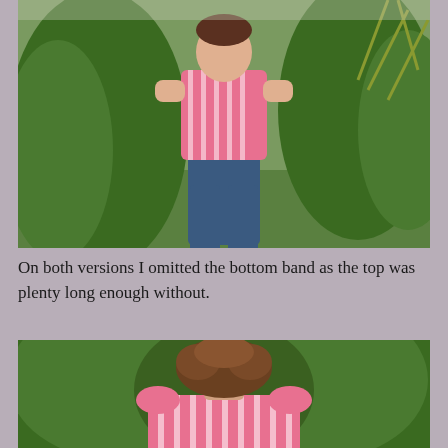[Figure (photo): Person standing outdoors in a pink and white striped top and blue jeans, with green conifer trees in the background. The person has hands on hips and is seen from the front. Photo taken in a garden setting.]
On both versions I omitted the bottom band as the top was plenty long enough without.
[Figure (photo): Back view of a person with short brown wavy hair wearing a pink and white striped top, standing in front of green conifer trees.]